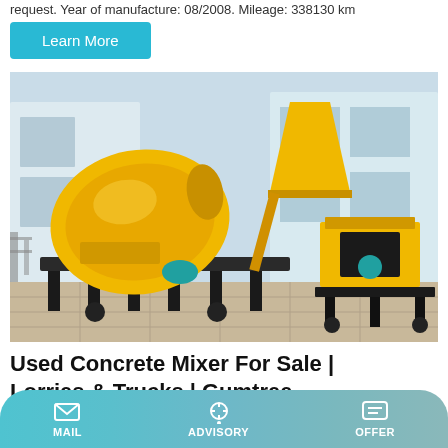request. Year of manufacture: 08/2008. Mileage: 338130 km
Learn More
[Figure (photo): Yellow concrete mixer machine with hopper and conveyor belt, parked outdoors in front of a light blue building.]
Used Concrete Mixer For Sale | Lorries & Trucks | Gumtree
MAIL   ADVISORY   OFFER